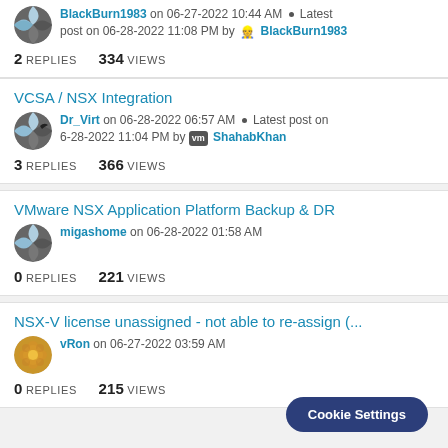BlackBurn1983 on 06-27-2022 10:44 AM . Latest post on 06-28-2022 11:08 PM by BlackBurn1983 | 2 REPLIES 334 VIEWS
VCSA / NSX Integration
Dr_Virt on 06-28-2022 06:57 AM . Latest post on 6-28-2022 11:04 PM by ShahabKhan | 3 REPLIES 366 VIEWS
VMware NSX Application Platform Backup & DR
migashome on 06-28-2022 01:58 AM | 0 REPLIES 221 VIEWS
NSX-V license unassigned - not able to re-assign (...
vRon on 06-27-2022 03:59 AM | 0 REPLIES 215 VIEWS
Cookie Settings